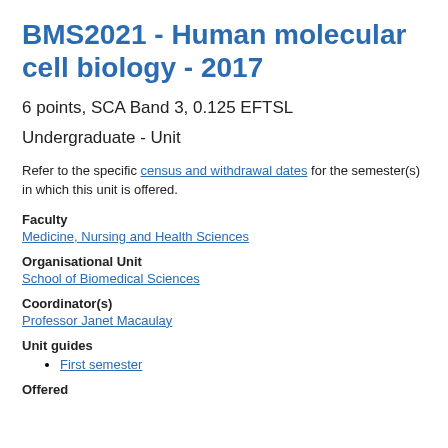BMS2021 - Human molecular cell biology - 2017
6 points, SCA Band 3, 0.125 EFTSL
Undergraduate - Unit
Refer to the specific census and withdrawal dates for the semester(s) in which this unit is offered.
Faculty
Medicine, Nursing and Health Sciences
Organisational Unit
School of Biomedical Sciences
Coordinator(s)
Professor Janet Macaulay
Unit guides
First semester
Offered